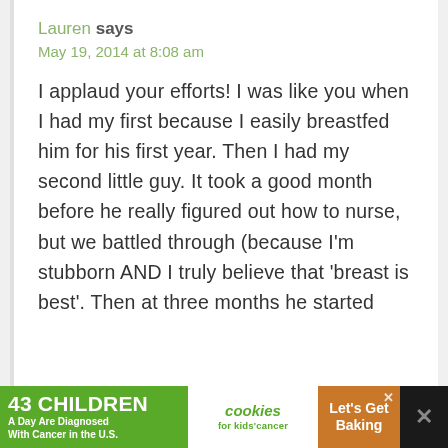Lauren says
May 19, 2014 at 8:08 am
I applaud your efforts! I was like you when I had my first because I easily breastfed him for his first year. Then I had my second little guy. It took a good month before he really figured out how to nurse, but we battled through (because I'm stubborn AND I truly believe that 'breast is best'. Then at three months he started
[Figure (screenshot): Advertisement banner at bottom: green left section '43 CHILDREN A Day Are Diagnosed With Cancer in the U.S.', white middle with 'cookies for kids cancer' logo, brown right section 'Let's Get Baking']